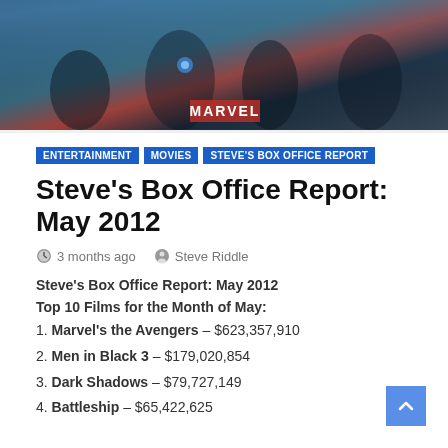[Figure (photo): Hero image showing Marvel's The Avengers movie promotional/still image with superheroes in action]
ENTERTAINMENT  MOVIES  STEVE'S BOX OFFICE REPORT
Steve's Box Office Report: May 2012
3 months ago  Steve Riddle
Steve's Box Office Report: May 2012
Top 10 Films for the Month of May:
1. Marvel's the Avengers – $623,357,910
2. Men in Black 3 – $179,020,854
3. Dark Shadows – $79,727,149
4. Battleship – $65,422,625